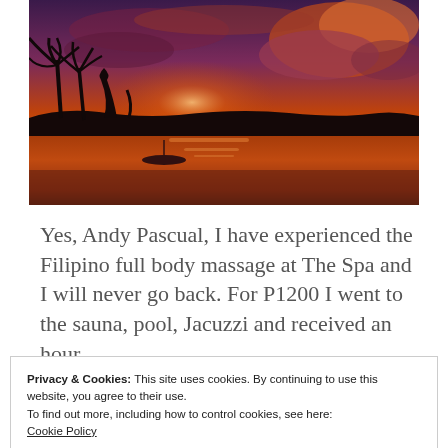[Figure (photo): Tropical sunset over a beach with palm tree silhouettes, vibrant orange, red, and purple sky with dramatic clouds reflecting on wet sand.]
Yes, Andy Pascual, I have experienced the Filipino full body massage at The Spa and I will never go back. For P1200 I went to the sauna, pool, Jacuzzi and received an hour
Privacy & Cookies: This site uses cookies. By continuing to use this website, you agree to their use.
To find out more, including how to control cookies, see here:
Cookie Policy
Close and accept
into my back, arms, legs and stomach